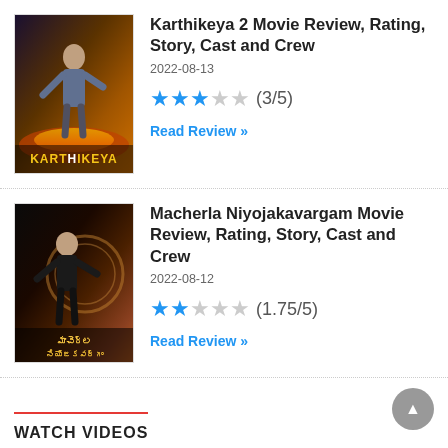[Figure (photo): Movie poster for Karthikeya 2 showing actor in action pose with KARTHIKEYA text at bottom]
Karthikeya 2 Movie Review, Rating, Story, Cast and Crew
2022-08-13
★★★☆☆ (3/5)
Read Review »
[Figure (photo): Movie poster for Macherla Niyojakavargam showing actor in action pose with Telugu text at bottom]
Macherla Niyojakavargam Movie Review, Rating, Story, Cast and Crew
2022-08-12
★★☆☆☆ (1.75/5)
Read Review »
WATCH VIDEOS